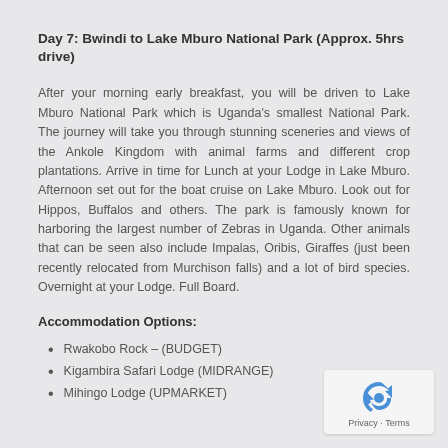Day 7: Bwindi to Lake Mburo National Park (Approx. 5hrs drive)
After your morning early breakfast, you will be driven to Lake Mburo National Park which is Uganda's smallest National Park. The journey will take you through stunning sceneries and views of the Ankole Kingdom with animal farms and different crop plantations. Arrive in time for Lunch at your Lodge in Lake Mburo. Afternoon set out for the boat cruise on Lake Mburo. Look out for Hippos, Buffalos and others. The park is famously known for harboring the largest number of Zebras in Uganda. Other animals that can be seen also include Impalas, Oribis, Giraffes (just been recently relocated from Murchison falls) and a lot of bird species. Overnight at your Lodge. Full Board.
Accommodation Options:
Rwakobo Rock – (BUDGET)
Kigambira Safari Lodge (MIDRANGE)
Mihingo Lodge (UPMARKET)